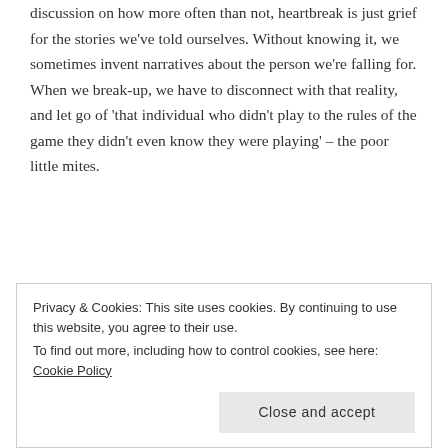discussion on how more often than not, heartbreak is just grief for the stories we've told ourselves. Without knowing it, we sometimes invent narratives about the person we're falling for. When we break-up, we have to disconnect with that reality, and let go of 'that individual who didn't play to the rules of the game they didn't even know they were playing' – the poor little mites.
Visualisations – The course explores lots of ways to get you ready for the relationship you want. Imagining what it looks like is one part of that. One exercise I found particularly powerful was when they get you to imagine it playing on a screen. It reminded me of what Holly does in
Privacy & Cookies: This site uses cookies. By continuing to use this website, you agree to their use.
To find out more, including how to control cookies, see here: Cookie Policy
Close and accept